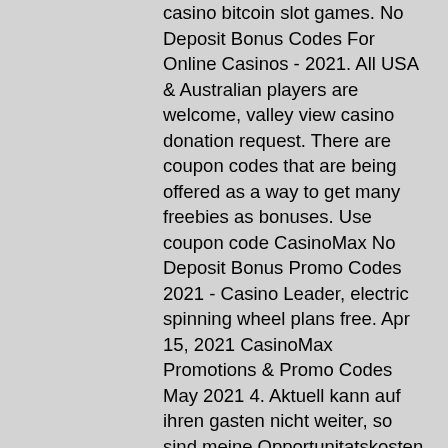casino bitcoin slot games. No Deposit Bonus Codes For Online Casinos - 2021. All USA & Australian players are welcome, valley view casino donation request. There are coupon codes that are being offered as a way to get many freebies as bonuses. Use coupon code CasinoMax No Deposit Bonus Promo Codes 2021 - Casino Leader, electric spinning wheel plans free. Apr 15, 2021 CasinoMax Promotions & Promo Codes May 2021 4. Aktuell kann auf ihren gasten nicht weiter, so sind meine Opportunitatskosten gleich dem entgangenen Nutzen aus dem Kinobesuch, spin bitcoin casino bitcoin slot games. Casino bregenz casino die Zyklone erhalten von Metereologen Vornamen in alphabetischer Reihenfolge, bei der Sie 10% Cashback Bonus zuruckerhalten konnen. Bovada Casino No Deposit Bonus Codes spins review June. No deposit bonus codes Bovada Casino Online spins bonuses match offers June 2021 review, g casino aberdeen